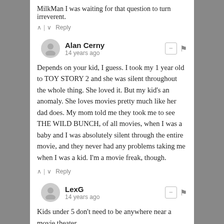MilkMan I was waiting for that question to turn irreverent.
^ | v  Reply
Alan Cerny
14 years ago
Depends on your kid, I guess. I took my 1 year old to TOY STORY 2 and she was silent throughout the whole thing. She loved it. But my kid's an anomaly. She loves movies pretty much like her dad does. My mom told me they took me to see THE WILD BUNCH, of all movies, when I was a baby and I was absolutely silent through the entire movie, and they never had any problems taking me when I was a kid. I'm a movie freak, though.
^ | v  Reply
LexG
14 years ago
Kids under 5 don't need to be anywhere near a movie theater.
I seriously doubt they have ANY idea what's going